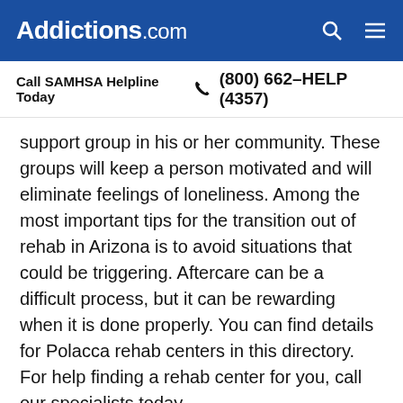Addictions.com
Call SAMHSA Helpline Today (800) 662-HELP (4357)
support group in his or her community. These groups will keep a person motivated and will eliminate feelings of loneliness. Among the most important tips for the transition out of rehab in Arizona is to avoid situations that could be triggering. Aftercare can be a difficult process, but it can be rewarding when it is done properly. You can find details for Polacca rehab centers in this directory. For help finding a rehab center for you, call our specialists today.
[Figure (photo): Partial circular avatar/profile photo of a person at the bottom of the page]